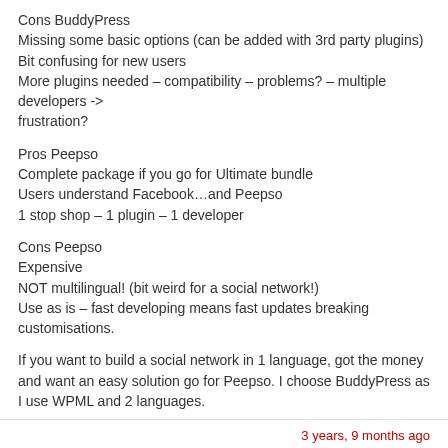Cons BuddyPress
Missing some basic options (can be added with 3rd party plugins)
Bit confusing for new users
More plugins needed – compatibility – problems? – multiple developers -> frustration?
Pros Peepso
Complete package if you go for Ultimate bundle
Users understand Facebook…and Peepso
1 stop shop – 1 plugin – 1 developer
Cons Peepso
Expensive
NOT multilingual! (bit weird for a social network!)
Use as is – fast developing means fast updates breaking customisations.
If you want to build a social network in 1 language, got the money and want an easy solution go for Peepso. I choose BuddyPress as I use WPML and 2 languages.
3 years, 9 months ago
EricTracz
Participant
@erictracz